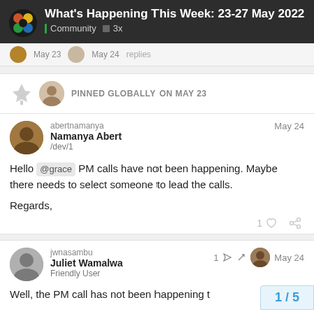What's Happening This Week: 23-27 May 2022 | Community ■ 3x
May 23   May 24   replies
PINNED GLOBALLY ON MAY 23
abertnamanya
Namanya Abert
/dev/1
May 24
Hello @grace PM calls have not been happening. Maybe there needs to select someone to lead the calls.

Regards,
jwnasambu
Juliet Wamalwa
Friendly User
1  May 24
Well, the PM call has not been happening t
1 / 5